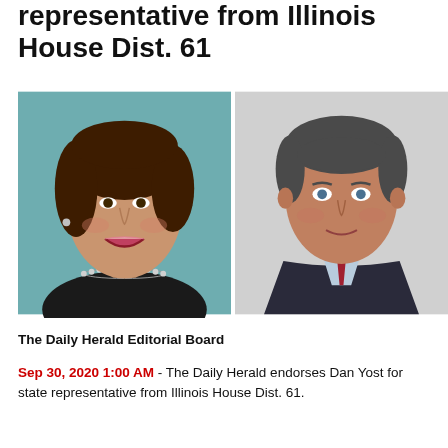representative from Illinois House Dist. 61
[Figure (photo): Two side-by-side headshot photos: a woman with a pearl necklace on a teal background (left) and a man in a dark suit on a grey background (right)]
The Daily Herald Editorial Board
Sep 30, 2020 1:00 AM - The Daily Herald endorses Dan Yost for state representative from Illinois House Dist. 61.